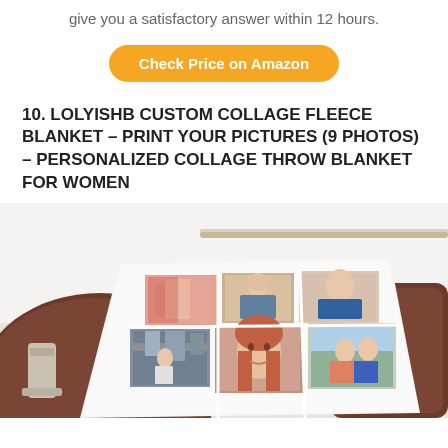give you a satisfactory answer within 12 hours.
Check Price on Amazon
10. LOLYISHB CUSTOM COLLAGE FLEECE BLANKET – PRINT YOUR PICTURES (9 PHOTOS) – PERSONALIZED COLLAGE THROW BLANKET FOR WOMEN
[Figure (photo): Product photo of a custom collage fleece blanket displayed on a brown leather chair. The blanket shows a 3x3 grid collage of photos featuring women and friends. A metal wall-mounted bar is visible in the background.]